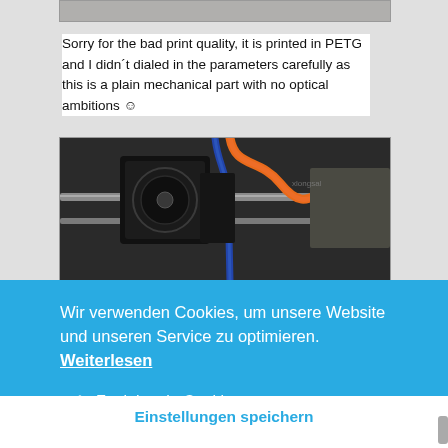[Figure (photo): Top portion of a 3D printer photo, partially visible at the top of the page]
Sorry for the bad print quality, it is printed in PETG and I didnʼt dialed in the parameters carefully as this is a plain mechanical part with no optical ambitions ☺
[Figure (photo): Photo of a 3D printer extruder assembly showing a motor, orange filament tube, blue cable, and metal rods against a dark background. Watermark text visible: xlongsal]
Wir verwenden Cookies, um unsere Website und unseren Service zu optimieren. Weiterlesen
✓ Funktionale Cookies
□ Marketing
Einstellungen speichern